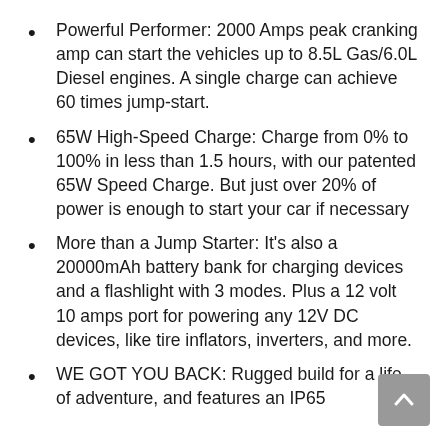Powerful Performer: 2000 Amps peak cranking amp can start the vehicles up to 8.5L Gas/6.0L Diesel engines. A single charge can achieve 60 times jump-start.
65W High-Speed Charge: Charge from 0% to 100% in less than 1.5 hours, with our patented 65W Speed Charge. But just over 20% of power is enough to start your car if necessary
More than a Jump Starter: It’s also a 20000mAh battery bank for charging devices and a flashlight with 3 modes. Plus a 12 volt 10 amps port for powering any 12V DC devices, like tire inflators, inverters, and more.
WE GOT YOU BACK: Rugged build for a life of adventure, and features an IP65